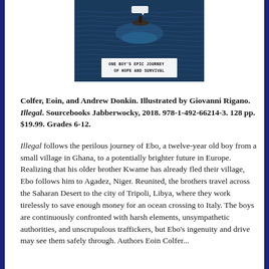[Figure (illustration): Book cover showing an aerial view of a person on a raft at sea, dark blue ocean, with a text box reading 'ONE BOY'S EPIC JOURNEY OF HOPE AND SURVIVAL']
Colfer, Eoin, and Andrew Donkin. Illustrated by Giovanni Rigano. Illegal. Sourcebooks Jabberwocky, 2018. 978-1-492-66214-3. 128 pp. $19.99. Grades 6-12.
Illegal follows the perilous journey of Ebo, a twelve-year old boy from a small village in Ghana, to a potentially brighter future in Europe. Realizing that his older brother Kwame has already fled their village, Ebo follows him to Agadez, Niger. Reunited, the brothers travel across the Saharan Desert to the city of Tripoli, Libya, where they work tirelessly to save enough money for an ocean crossing to Italy. The boys are continuously confronted with harsh elements, unsympathetic authorities, and unscrupulous traffickers, but Ebo's ingenuity and drive may see them safely through. Authors Eoin Colfer...